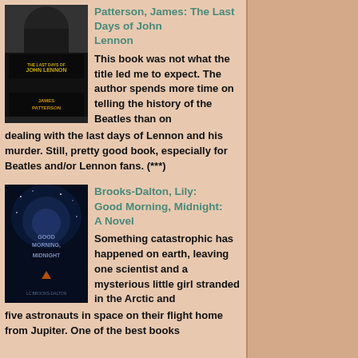[Figure (illustration): Book cover of 'The Last Days of John Lennon' by James Patterson. Dark cover with a hooded figure.]
Patterson, James: The Last Days of John Lennon
This book was not what the title led me to expect. The author spends more time on telling the history of the Beatles than on dealing with the last days of Lennon and his murder. Still, pretty good book, especially for Beatles and/or Lennon fans. (***)
[Figure (illustration): Book cover of 'Good Morning, Midnight: A Novel' by Brooks-Dalton, Lily. Dark blue cover with space/night sky imagery.]
Brooks-Dalton, Lily: Good Morning, Midnight: A Novel
Something catastrophic has happened on earth, leaving one scientist and a mysterious little girl stranded in the Arctic and five astronauts in space on their flight home from Jupiter. One of the best books